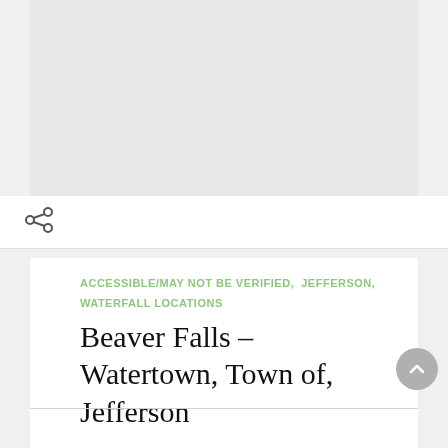[Figure (other): Gray advertisement/image placeholder area at top of page]
[Figure (other): Share icon (social share network icon) in the share bar below the ad area]
ACCESSIBLE/MAY NOT BE VERIFIED,  JEFFERSON,  WATERFALL LOCATIONS
Beaver Falls – Watertown, Town of, Jefferson
updated on November 6, 2020   Rivited? Read On...  ▶